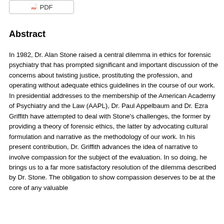[Figure (other): PDF button/icon at top of page]
Abstract
In 1982, Dr. Alan Stone raised a central dilemma in ethics for forensic psychiatry that has prompted significant and important discussion of the concerns about twisting justice, prostituting the profession, and operating without adequate ethics guidelines in the course of our work. In presidential addresses to the membership of the American Academy of Psychiatry and the Law (AAPL), Dr. Paul Appelbaum and Dr. Ezra Griffith have attempted to deal with Stone's challenges, the former by providing a theory of forensic ethics, the latter by advocating cultural formulation and narrative as the methodology of our work. In his present contribution, Dr. Griffith advances the idea of narrative to involve compassion for the subject of the evaluation. In so doing, he brings us to a far more satisfactory resolution of the dilemma described by Dr. Stone. The obligation to show compassion deserves to be at the core of any valuable